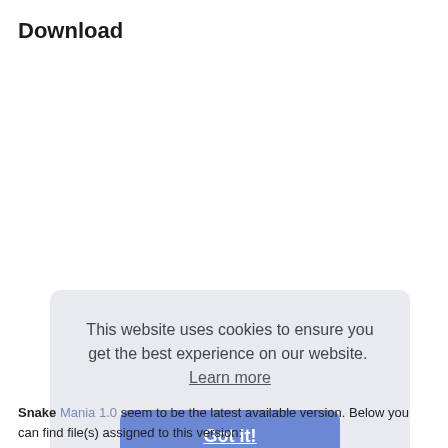Download
This website uses cookies to ensure you get the best experience on our website. Learn more
Got it!
Snake Mania 1.0 seem to be the latest available version. Below you can find file(s) assigned to this version: